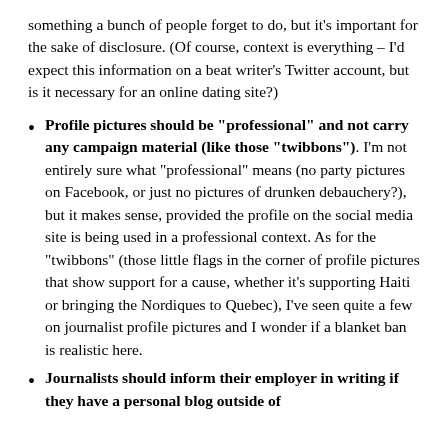something a bunch of people forget to do, but it's important for the sake of disclosure. (Of course, context is everything – I'd expect this information on a beat writer's Twitter account, but is it necessary for an online dating site?)
Profile pictures should be "professional" and not carry any campaign material (like those "twibbons"). I'm not entirely sure what "professional" means (no party pictures on Facebook, or just no pictures of drunken debauchery?), but it makes sense, provided the profile on the social media site is being used in a professional context. As for the "twibbons" (those little flags in the corner of profile pictures that show support for a cause, whether it's supporting Haiti or bringing the Nordiques to Quebec), I've seen quite a few on journalist profile pictures and I wonder if a blanket ban is realistic here.
Journalists should inform their employer in writing if they have a personal blog outside of